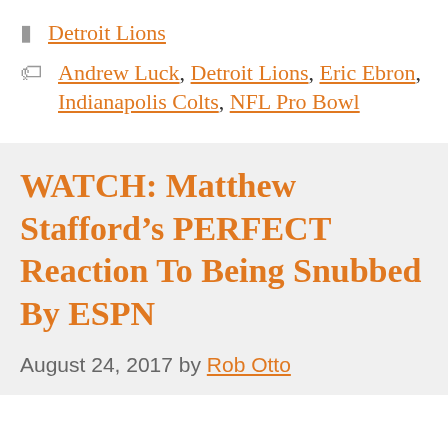Detroit Lions
Andrew Luck, Detroit Lions, Eric Ebron, Indianapolis Colts, NFL Pro Bowl
WATCH: Matthew Stafford's PERFECT Reaction To Being Snubbed By ESPN
August 24, 2017 by Rob Otto